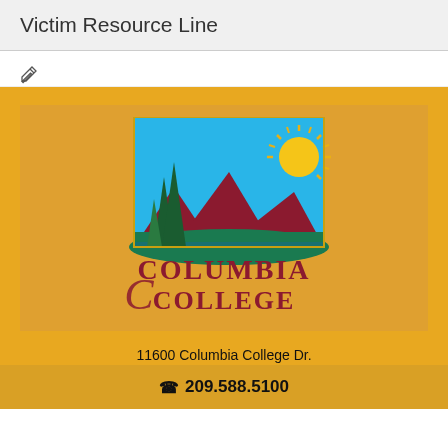Victim Resource Line
[Figure (logo): Columbia College logo with scenic landscape illustration (mountains, trees, sun, sky) above the text 'Columbia College' in dark red serif font]
11600 Columbia College Dr.
Sonora CA 95370
209.588.5100